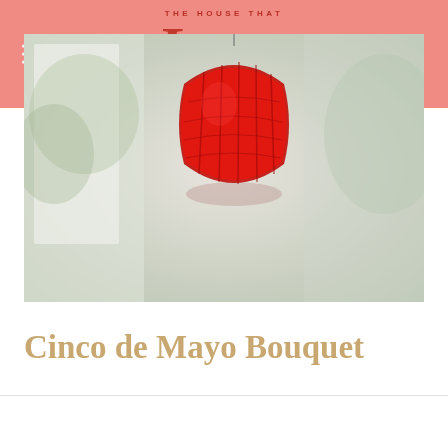THE HOUSE THAT Lars BUILT
[Figure (photo): Photo of a red paper honeycomb ball/flower decoration hanging, with a bright blurry indoor background with greenery visible through windows]
Cinco de Mayo Bouquet